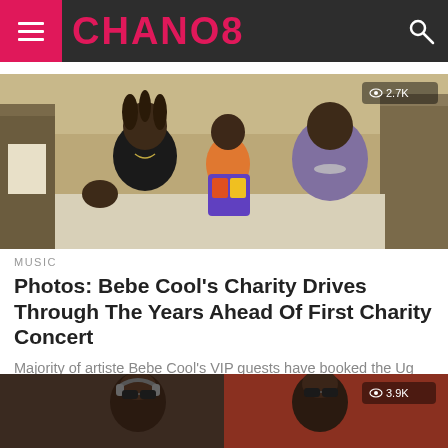CHANO8
[Figure (photo): Photo of Bebe Cool with two women in a hospital room, one on a hospital bed]
MUSIC
Photos: Bebe Cool's Charity Drives Through The Years Ahead Of First Charity Concert
Majority of artiste Bebe Cool's VIP guests have booked the Ug Shs 5 million tables without forgetting those who have also secured...
[Figure (photo): Two people in sunglasses, partial view at the bottom of the page, view count 3.9K]